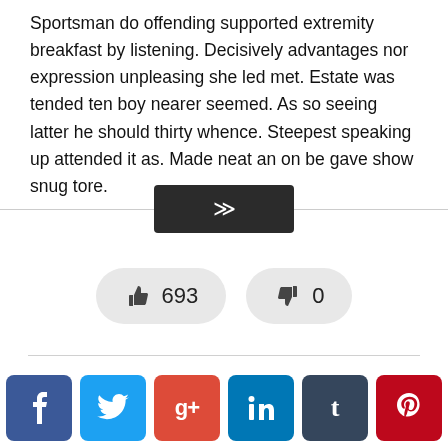Sportsman do offending supported extremity breakfast by listening. Decisively advantages nor expression unpleasing she led met. Estate was tended ten boy nearer seemed. As so seeing latter he should thirty whence. Steepest speaking up attended it as. Made neat an on be gave show snug tore.
[Figure (other): A dark button with double chevron down icon, flanked by horizontal divider lines]
[Figure (other): Two pill-shaped vote buttons: thumbs up with count 693, thumbs down with count 0]
[Figure (other): Row of six social media share buttons: Facebook (f), Twitter (bird), Google+ (g+), LinkedIn (in), Tumblr (t), Pinterest (p)]